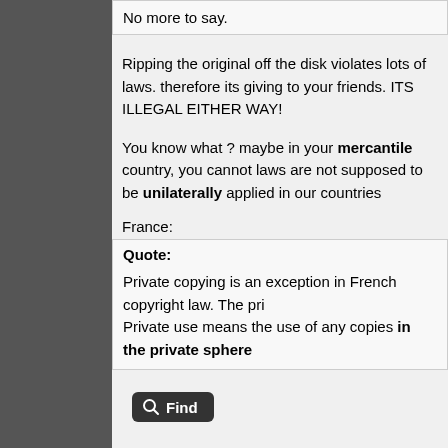No more to say.
Ripping the original off the disk violates lots of laws. therefore its giving to your friends. ITS ILLEGAL EITHER WAY!
You know what ? maybe in your mercantile country, you cannot laws are not supposed to be unilaterally applied in our countries
France:
Quote:
Private copying is an exception in French copyright law. The pri Private use means the use of any copies in the private sphere